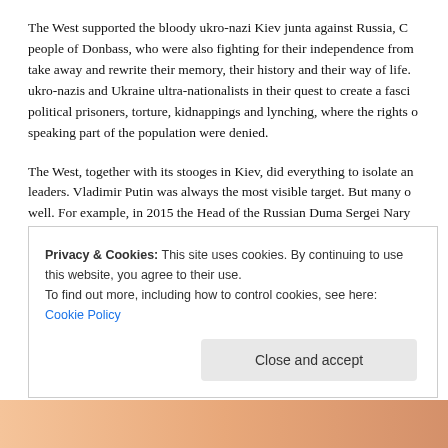The West supported the bloody ukro-nazi Kiev junta against Russia, Crimea and the people of Donbass, who were also fighting for their independence from those who tried to take away and rewrite their memory, their history and their way of life. The West helped ukro-nazis and Ukraine ultra-nationalists in their quest to create a fascist state with political prisoners, torture, kidnappings and lynching, where the rights of the Russian speaking part of the population were denied.
The West, together with its stooges in Kiev, did everything to isolate and demonize Russian leaders. Vladimir Putin was always the most visible target. But many others were targeted as well. For example, in 2015 the Head of the Russian Duma Sergei Naryshkin was denied a visa to Helsinki, where he was invited to the anniversary of the Helsinki Act, Russia, as the legal heir to the USSR, was a founding member; The Head of the upper chamber of the Russian Duma Valentina Matvienko in 2015 was illegally sanctioned and was unable to come to New York, where she was invited to speak at the UN General Assembly and at the global inter-parliamentary symposium. The exceedingly ultra...
Privacy & Cookies: This site uses cookies. By continuing to use this website, you agree to their use.
To find out more, including how to control cookies, see here: Cookie Policy
Close and accept